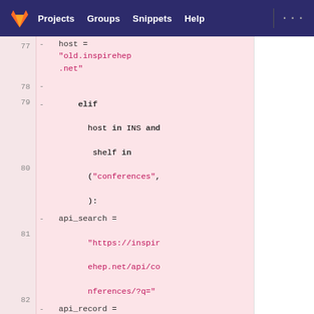GitLab navigation: Projects, Groups, Snippets, Help
[Figure (screenshot): GitLab code diff view showing lines 77-81 of a Python file with removed lines highlighted in pink. Line 77: host = "old.inspirehep.net", Line 78: (empty), Line 79: elif host in INS and shelf in ("conferences",):, Line 80: api_search = "https://inspirehep.net/api/conferences/?q=", Line 81: api_record = "https://inspirehep.net/api/conferences"]